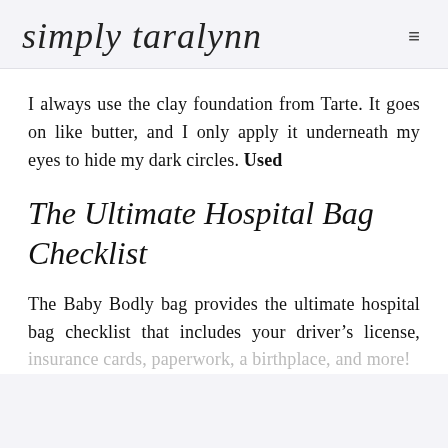simply taralynn
I always use the clay foundation from Tarte. It goes on like butter, and I only apply it underneath my eyes to hide my dark circles. Used
The Ultimate Hospital Bag Checklist
The Baby Bodly bag provides the ultimate hospital bag checklist that includes your driver's license, insurance cards, paperwork, a birthplace, and more!